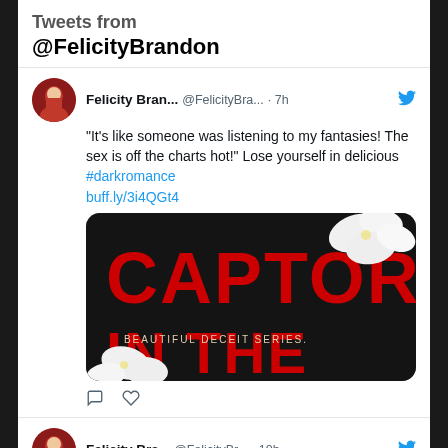Tweets from @FelicityBrandon
Felicity Bran... @FelicityBra... · 7h — "It's like someone was listening to my fantasies! The sex is off the charts hot!" Lose yourself in delicious #darkromance buff.ly/3i4QGt4
[Figure (photo): Book cover image showing 'CAPTOR IN THE' in large red text on a black background with white orchid flowers, subtitled 'BEAUTIFUL DECEIT SERIES.']
Felicity Bra... @FelicityBr... · 10h — #EnergyForAll - Everyone has a right to the energy needed for heating, cooking,